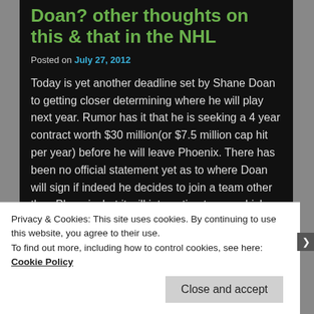Doan? other thoughts on this & that in the NHL
Posted on July 27, 2012
Today is yet another deadline set by Shane Doan to getting closer determining where he will play next year. Rumor has it that he is seeking a 4 year contract worth $30 million(or $7.5 million cap hit per year) before he will leave Phoenix. There has been no official statement yet as to where Doan will sign if indeed he decides to join a team other than Phoenix, but it will interesting to see which teams are willing to pay. I’m not sure why Doan keeps “setting deadlines” which is simply a way of saying “I still need more time to consider all my options”. It just
Privacy & Cookies: This site uses cookies. By continuing to use this website, you agree to their use.
To find out more, including how to control cookies, see here: Cookie Policy
Close and accept